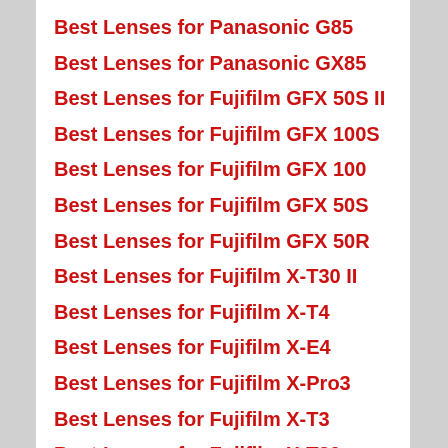Best Lenses for Panasonic G85
Best Lenses for Panasonic GX85
Best Lenses for Fujifilm GFX 50S II
Best Lenses for Fujifilm GFX 100S
Best Lenses for Fujifilm GFX 100
Best Lenses for Fujifilm GFX 50S
Best Lenses for Fujifilm GFX 50R
Best Lenses for Fujifilm X-T30 II
Best Lenses for Fujifilm X-T4
Best Lenses for Fujifilm X-E4
Best Lenses for Fujifilm X-Pro3
Best Lenses for Fujifilm X-T3
Best Lenses for Fujifilm X-T30